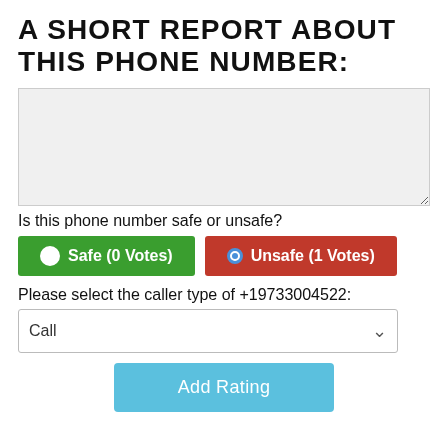A SHORT REPORT ABOUT THIS PHONE NUMBER:
Is this phone number safe or unsafe?
Safe (0 Votes)
Unsafe (1 Votes)
Please select the caller type of +19733004522:
Call
Add Rating